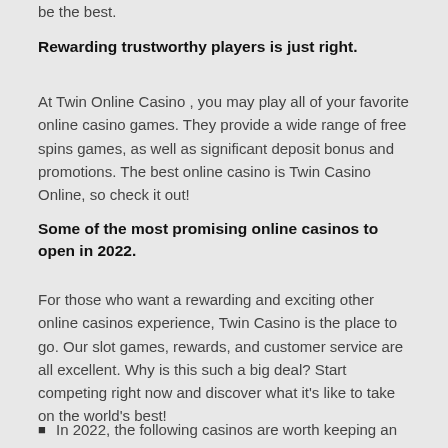be the best.
Rewarding trustworthy players is just right.
At Twin Online Casino , you may play all of your favorite online casino games. They provide a wide range of free spins games, as well as significant deposit bonus and promotions. The best online casino is Twin Casino Online, so check it out!
Some of the most promising online casinos to open in 2022.
For those who want a rewarding and exciting other online casinos experience, Twin Casino is the place to go. Our slot games, rewards, and customer service are all excellent. Why is this such a big deal? Start competing right now and discover what it's like to take on the world's best!
In 2022, the following casinos are worth keeping an eye on: